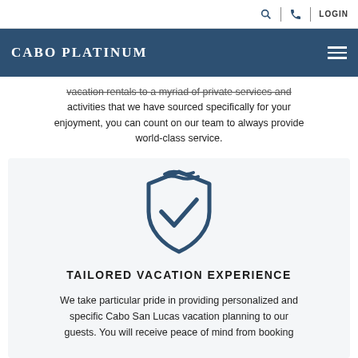CABO PLATINUM | LOGIN
vacation rentals to a myriad of private services and activities that we have sourced specifically for your enjoyment, you can count on our team to always provide world-class service.
[Figure (illustration): Shield with checkmark icon in dark navy blue, representing trust and quality assurance]
TAILORED VACATION EXPERIENCE
We take particular pride in providing personalized and specific Cabo San Lucas vacation planning to our guests. You will receive peace of mind from booking